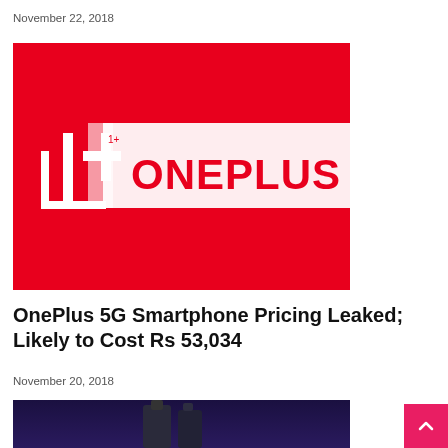November 22, 2018
[Figure (logo): OnePlus logo on a red background with the OnePlus icon on the left and 'ONEPLUS' text in red on a white/grey banner on the right]
OnePlus 5G Smartphone Pricing Leaked; Likely to Cost Rs 53,034
November 20, 2018
[Figure (photo): Dark blue/purple background with a OnePlus smartphone device visible at the bottom of the page]